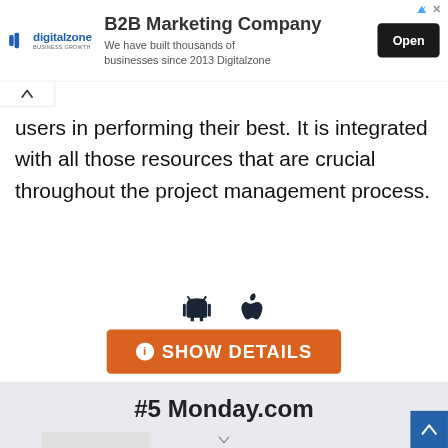[Figure (screenshot): Advertisement banner for Digitalzone B2B Marketing Company with logo, tagline, and Open button]
users in performing their best. It is integrated with all those resources that are crucial throughout the project management process.
[Figure (infographic): Android and Apple platform icons]
SHOW DETAILS
#5 Monday.com